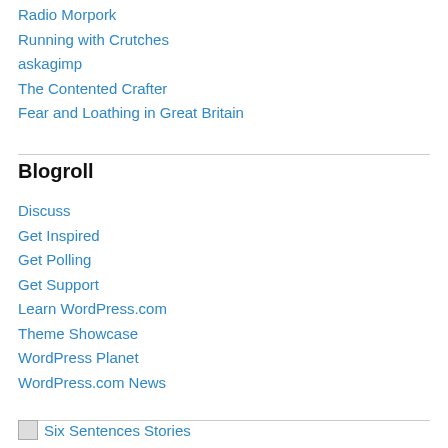Radio Morpork
Running with Crutches
askagimp
The Contented Crafter
Fear and Loathing in Great Britain
Blogroll
Discuss
Get Inspired
Get Polling
Get Support
Learn WordPress.com
Theme Showcase
WordPress Planet
WordPress.com News
Six Sentences Stories